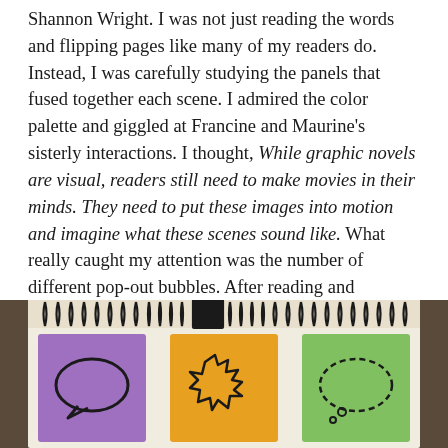Shannon Wright. I was not just reading the words and flipping pages like many of my readers do. Instead, I was carefully studying the panels that fused together each scene. I admired the color palette and giggled at Francine and Maurine's sisterly interactions. I thought, While graphic novels are visual, readers still need to make movies in their minds. They need to put these images into motion and imagine what these scenes sound like. What really caught my attention was the number of different pop-out bubbles. After reading and rereading to think about the meaning of each one, I decided to draw them out:
[Figure (photo): A photograph of a spiral-bound notebook showing three hand-drawn speech/thought bubble cards: a purple card with an oval speech bubble outline, an orange card with a spiky/jagged speech bubble outline, and a green card with a dashed oval thought bubble outline.]